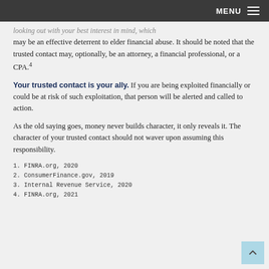MENU
looking out with your best interest in mind, which may be an effective deterrent to elder financial abuse. It should be noted that the trusted contact may, optionally, be an attorney, a financial professional, or a CPA.4
Your trusted contact is your ally. If you are being exploited financially or could be at risk of such exploitation, that person will be alerted and called to action.
As the old saying goes, money never builds character, it only reveals it. The character of your trusted contact should not waver upon assuming this responsibility.
1. FINRA.org, 2020
2. ConsumerFinance.gov, 2019
3. Internal Revenue Service, 2020
4. FINRA.org, 2021